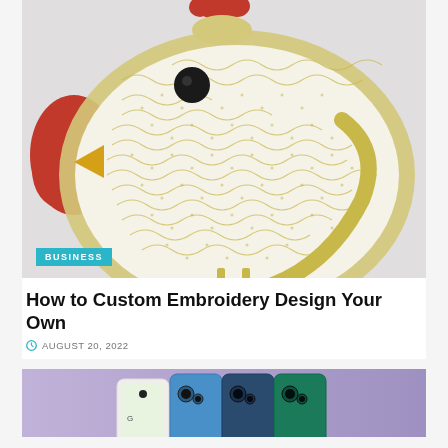[Figure (illustration): 3D embroidery design of a golden chicken/rooster shape with intricate dotted swirl patterns inside, red comb and wattle, yellow beak, black eye, on a light gray background. A cyan 'BUSINESS' tag badge is overlaid at the bottom left of the image.]
How to Custom Embroidery Design Your Own
AUGUST 20, 2022
[Figure (photo): Photo showing multiple Android smartphones in different colors (white, blue, dark blue, green/teal) on a light purple background, showing the front and back of the devices.]